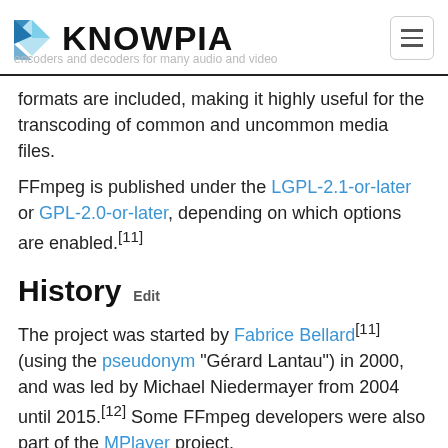KNOWPIA
formats are included, making it highly useful for the transcoding of common and uncommon media files.
FFmpeg is published under the LGPL-2.1-or-later or GPL-2.0-or-later, depending on which options are enabled.[11]
History  Edit
The project was started by Fabrice Bellard[11] (using the pseudonym "Gérard Lantau") in 2000, and was led by Michael Niedermayer from 2004 until 2015.[12] Some FFmpeg developers were also part of the MPlayer project.
The name of the project is inspired by the MPEG video standards group, together with "FF" for "fast